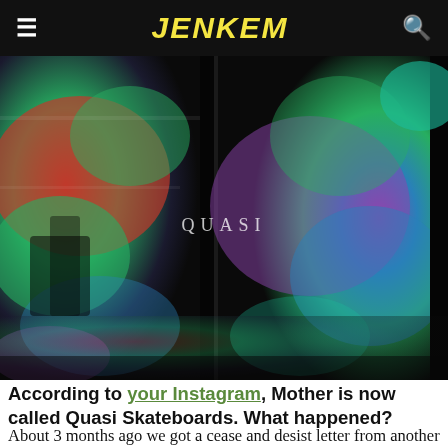JENKEM
[Figure (photo): Close-up of iridescent, colorful reflective metallic surface with greens, reds, blues and purples. The word QUASI appears in white text in the center.]
According to your Instagram, Mother is now called Quasi Skateboards. What happened?
About 3 months ago we got a cease and desist letter from another company claiming they owned the name Mother, and